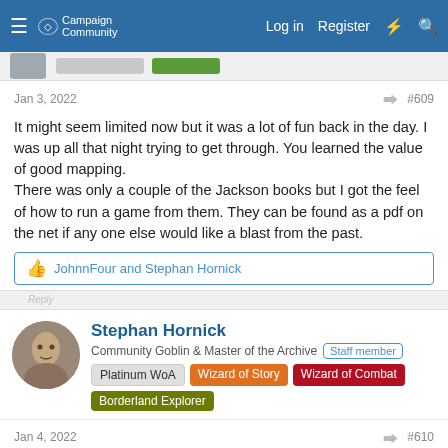Campaign Community — Log in  Register
Jan 3, 2022  #609
It might seem limited now but it was a lot of fun back in the day. I was up all that night trying to get through. You learned the value of good mapping.
There was only a couple of the Jackson books but I got the feel of how to run a game from them. They can be found as a pdf on the net if any one else would like a blast from the past.
JohnnFour and Stephan Hornick
Stephan Hornick
Community Goblin & Master of the Archive  Staff member
Platinum WoA  Wizard of Story  Wizard of Combat  Borderland Explorer
Jan 4, 2022  #610